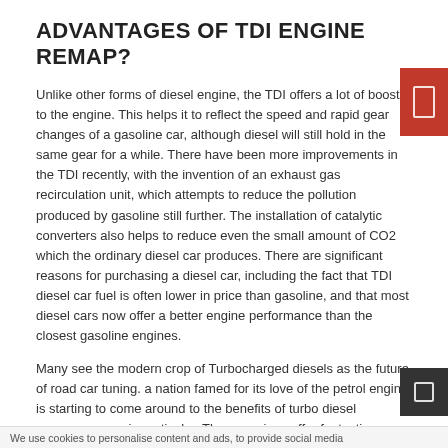ADVANTAGES OF TDI ENGINE REMAP?
Unlike other forms of diesel engine, the TDI offers a lot of boost to the engine. This helps it to reflect the speed and rapid gear changes of a gasoline car, although diesel will still hold in the same gear for a while. There have been more improvements in the TDI recently, with the invention of an exhaust gas recirculation unit, which attempts to reduce the pollution produced by gasoline still further. The installation of catalytic converters also helps to reduce even the small amount of CO2 which the ordinary diesel car produces. There are significant reasons for purchasing a diesel car, including the fact that TDI diesel car fuel is often lower in price than gasoline, and that most diesel cars now offer a better engine performance than the closest gasoline engines.
Many see the modern crop of Turbocharged diesels as the future of road car tuning. a nation famed for its love of the petrol engine is starting to come around to the benefits of turbo diesel passenger cars in particular. These engines offer fantastic potential for reliable low cost tuning without removing any of the appeal of buying and running a turbo diesel powered vehicle, such as economy, reliability and longevity.
After your ECU upgrade to your turbocharged diesel engine, you will enjoy:
We use cookies to personalise content and ads, to provide social media